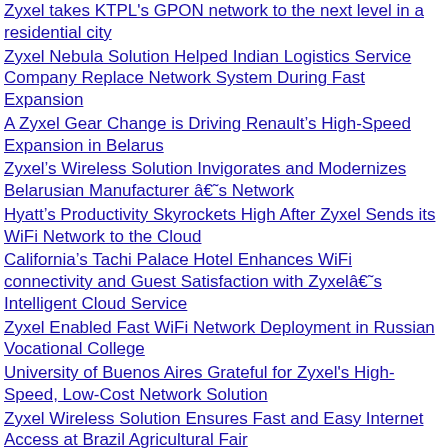Zyxel takes KTPL's GPON network to the next level in a residential city
Zyxel Nebula Solution Helped Indian Logistics Service Company Replace Network System During Fast Expansion
A Zyxel Gear Change is Driving Renault’s High-Speed Expansion in Belarus
Zyxel’s Wireless Solution Invigorates and Modernizes Belarusian Manufacturer â€˜s Network
Hyatt’s Productivity Skyrockets High After Zyxel Sends its WiFi Network to the Cloud
California’s Tachi Palace Hotel Enhances WiFi connectivity and Guest Satisfaction with Zyxelâ€˜s Intelligent Cloud Service
Zyxel Enabled Fast WiFi Network Deployment in Russian Vocational College
University of Buenos Aires Grateful for Zyxel's High-Speed, Low-Cost Network Solution
Zyxel Wireless Solution Ensures Fast and Easy Internet Access at Brazil Agricultural Fair
Zyxel Delivers Seamless, Secure WiFi to Famed Hilltop Church in Colombia
Zyxel Helped Italian Luxury Hotel Ensure Customer Satisfaction and GDPR Compliance
Zyxel's GPON Network Keeps Top Thai University Focused on its Studies with Faster, Stabler Internet
Zyxel Nebula Solution Brings Robust, Easy-to-Manage Wireless and Surveillance Networks to The H...